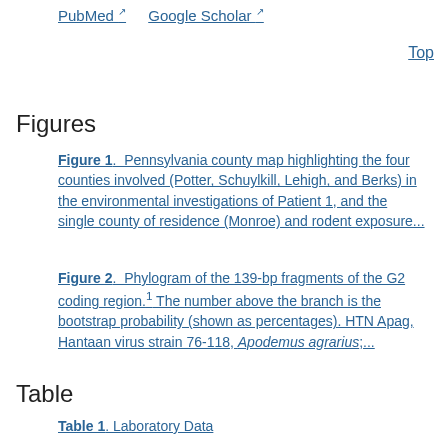PubMed  Google Scholar
Top
Figures
Figure 1.  Pennsylvania county map highlighting the four counties involved (Potter, Schuylkill, Lehigh, and Berks) in the environmental investigations of Patient 1, and the single county of residence (Monroe) and rodent exposure...
Figure 2.  Phylogram of the 139-bp fragments of the G2 coding region.1 The number above the branch is the bootstrap probability (shown as percentages). HTN Apag, Hantaan virus strain 76-118, Apodemus agrarius;...
Table
Table 1. Laboratory Data